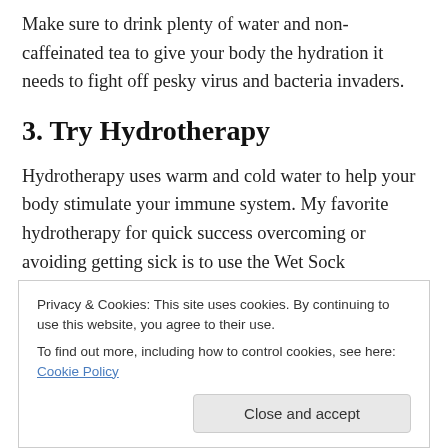Make sure to drink plenty of water and non-caffeinated tea to give your body the hydration it needs to fight off pesky virus and bacteria invaders.
3. Try Hydrotherapy
Hydrotherapy uses warm and cold water to help your body stimulate your immune system. My favorite hydrotherapy for quick success overcoming or avoiding getting sick is to use the Wet Sock Treatment. Check out our blogpost devoted to the Wet Sock Treatment here.
Privacy & Cookies: This site uses cookies. By continuing to use this website, you agree to their use.
To find out more, including how to control cookies, see here: Cookie Policy